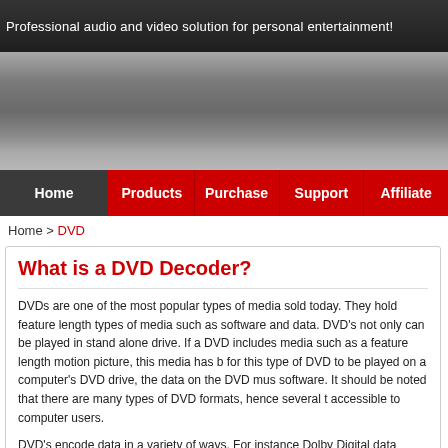Professional audio and video solution for personal entertainment!
[Figure (illustration): Gray gradient banner area for website header]
Home | Products | Purchase | Support | Affiliate
Home > DVD
What is a DVD Decoder?
DVDs are one of the most popular types of media sold today. They hold feature length types of media such as software and data. DVD's not only can be played in stand alone drive. If a DVD includes media such as a feature length motion picture, this media has b for this type of DVD to be played on a computer's DVD drive, the data on the DVD mus software. It should be noted that there are many types of DVD formats, hence several t accessible to computer users.
DVD's encode data in a variety of ways. For instance Dolby Digital data requires a Dol (Digital Theater System). These are both audio data that require decoding, but many vi including MPEG-2 (this is the most popular video format for DVD's). It should be noted player is not enough, you also need the software to decode the images making the data